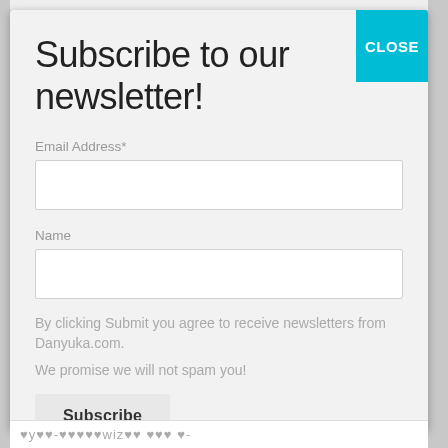Subscribe to our newsletter!
Email Address*
Name
By clicking Submit you agree to receive newsletters from Danyuka.com.
We promise we will not spam you!
Subscribe
♥y♥♥-♥♥♥♥♥wiz♥♥ ♥♥♥ ♥-